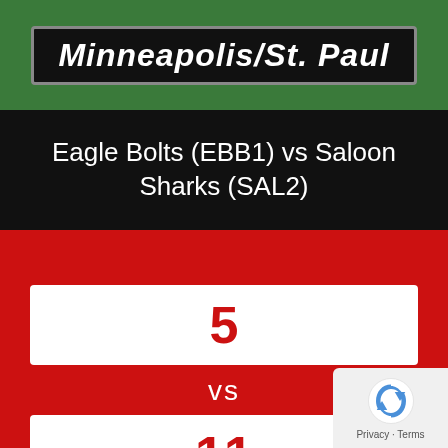[Figure (photo): Green grass/turf background with a dark banner showing partially visible text 'Minneapolis/St. Paul' in white bold italic font]
Eagle Bolts (EBB1) vs Saloon Sharks (SAL2)
5
vs
11